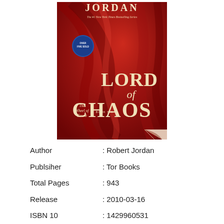[Figure (illustration): Book cover of 'Lord of Chaos' by Robert Jordan – The Wheel of Time Book Six. Deep red background with flowing fabric. Title text 'LORD of CHAOS' in large cream/gold letters. Author name 'JORDAN' at top. Blue circular badge on left side. Subtitle 'The #1 New York Times Bestselling Series'. 'The Wheel of Time Book Six' text near bottom left.]
Author : Robert Jordan
Publsiher : Tor Books
Total Pages : 943
Release : 2010-03-16
ISBN 10 : 1429960531